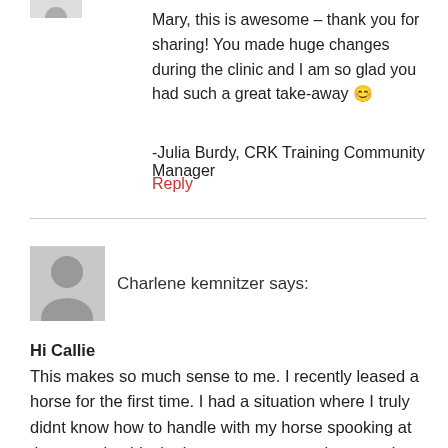Mary, this is awesome – thank you for sharing! You made huge changes during the clinic and I am so glad you had such a great take-away 🙂
-Julia Burdy, CRK Training Community Manager
Reply
Charlene kemnitzer says:
Hi Callie
This makes so much sense to me. I recently leased a horse for the first time. I had a situation where I truly didnt know how to handle with my horse spooking at the mounting block . I was very nervous because I was the only one in the arena and the only one at barn with no one to help. I realized that I need to gain a little more experience in dealing with my horse and learning so much more.
This has taught me to make sure I ride when there are